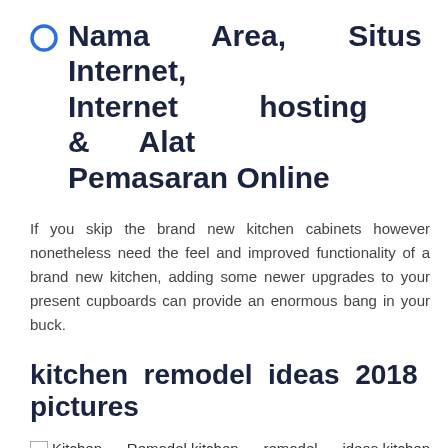Nama Area, Situs Internet, Internet hosting & Alat Pemasaran Online
If you skip the brand new kitchen cabinets however nonetheless need the feel and improved functionality of a brand new kitchen, adding some newer upgrades to your present cupboards can provide an enormous bang in your buck.
kitchen remodel ideas 2018 pictures
[Figure (photo): Broken image placeholder with alt text: Kitchen Remodel,kitchen remodel ideas,kitchen remodel cost,kitchen remodel near me,average kitchen remodel cost]